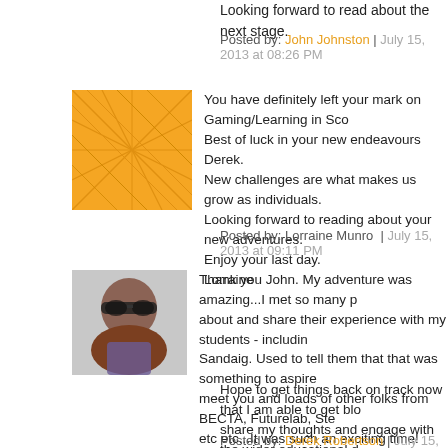Looking forward to read about the next stage.
Posted by: John Johnston | July 15, 2013 at 08:26 PM
[Figure (illustration): Orange geometric/abstract avatar icon]
You have definitely left your mark on Gaming/Learning in Sco Best of luck in your new endeavours Derek.
New challenges are what makes us grow as individuals.
Looking forward to reading about your new adventures.
Enjoy your last day.
Lorraine
Posted by: Lorraine Munro | July 15, 2013 at 09:11 PM
[Figure (photo): Small photo of a person wearing sunglasses]
Thank you John. My adventure was amazing...I met so many p about and share their experience with my students - includin Sandaig. Used to tell them that that was something to aspire meet you and loads of other folks from BECTA, Futurelab, Ste etc etc...It was such an exciting time!

Hope to get things back on track now that I am able to get blo share my thoughts and engage with the wider educational d related constraints :)
Posted by: Derek Robertson | July 15, 2013 at 10:00 PM